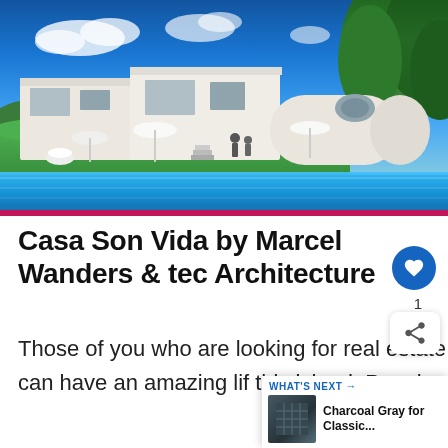[Figure (photo): Exterior view of Casa Son Vida, a modern white curved luxury villa with pool, umbrellas, green trees and blue sky in Mallorca]
Casa Son Vida by Marcel Wanders & tec Architecture
Those of you who are looking for real estate Mallorca should not waste anymore time. You can have an amazing lif this island. People who are already living